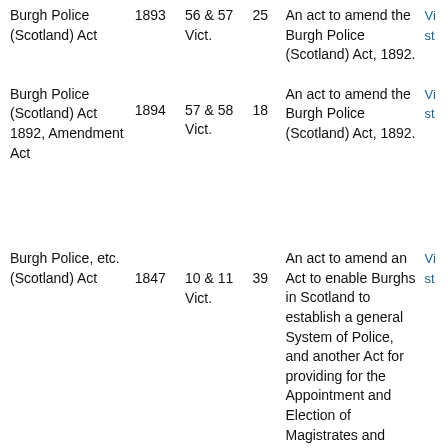| Act Title | Year | Reign | No. | Description | Link |
| --- | --- | --- | --- | --- | --- |
| Burgh Police (Scotland) Act | 1893 | 56 & 57 Vict. | 25 | An act to amend the Burgh Police (Scotland) Act, 1892. | Vi st |
| Burgh Police (Scotland) Act 1892, Amendment Act | 1894 | 57 & 58 Vict. | 18 | An act to amend the Burgh Police (Scotland) Act, 1892. | Vi st |
| Burgh Police, etc. (Scotland) Act | 1847 | 10 & 11 Vict. | 39 | An act to amend an Act to enable Burghs in Scotland to establish a general System of Police, and another Act for providing for the Appointment and Election of Magistrates and Councillors for certain Burghs and Towns of Scotland. | Vi st |